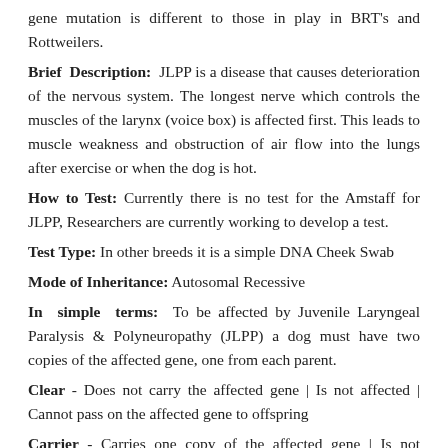gene mutation is different to those in play in BRT's and Rottweilers.
Brief Description: JLPP is a disease that causes deterioration of the nervous system. The longest nerve which controls the muscles of the larynx (voice box) is affected first. This leads to muscle weakness and obstruction of air flow into the lungs after exercise or when the dog is hot.
How to Test: Currently there is no test for the Amstaff for JLPP, Researchers are currently working to develop a test.
Test Type: In other breeds it is a simple DNA Cheek Swab
Mode of Inheritance: Autosomal Recessive
In simple terms: To be affected by Juvenile Laryngeal Paralysis & Polyneuropathy (JLPP) a dog must have two copies of the affected gene, one from each parent.
Clear - Does not carry the affected gene | Is not affected | Cannot pass on the affected gene to offspring
Carrier - Carries one copy of the affected gene | Is not affected | Can pass on one copy of the affected gene to